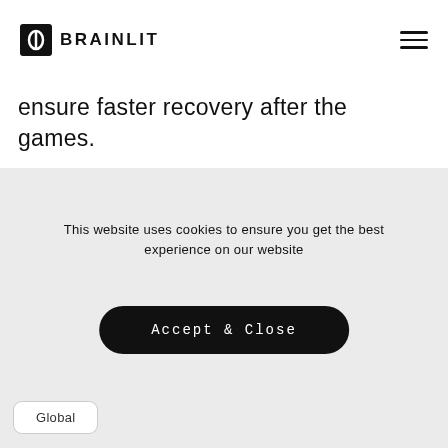[Figure (logo): BrainLit logo with circular icon and bold text 'BRAINLIT']
ensure faster recovery after the games.
This website uses cookies to ensure you get the best experience on our website
Accept & Close
Read more
Global